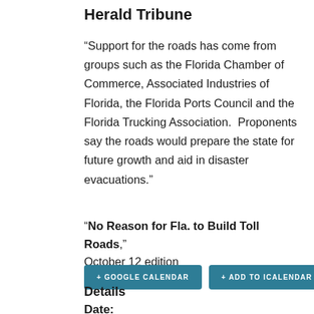Herald Tribune
“Support for the roads has come from groups such as the Florida Chamber of Commerce, Associated Industries of Florida, the Florida Ports Council and the Florida Trucking Association.  Proponents say the roads would prepare the state for future growth and aid in disaster evacuations.”
“No Reason for Fla. to Build Toll Roads,” October 12 edition
+ GOOGLE CALENDAR
+ ADD TO ICALENDAR
Details
Date: